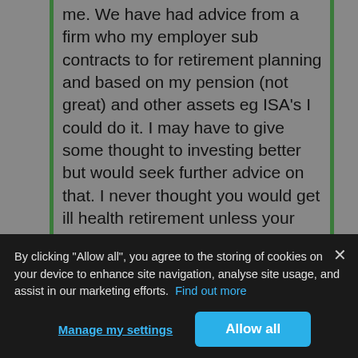me. We have had advice from a firm who my employer sub contracts to for retirement planning and based on my pension (not great) and other assets eg ISA's I could do it. I may have to give some thought to investing better but would seek further advice on that. I never thought you would get ill health retirement unless your condition was terminal etc

Anyway as others have said if you really are struggling with the work and you could get by ok then give it some serious thought. Work out your outgoings and what could be reduced eg switching utility providers, sim only phone plus a reduction in work-related expenses etc. Then you will have an
By clicking "Allow all", you agree to the storing of cookies on your device to enhance site navigation, analyse site usage, and assist in our marketing efforts. Find out more
Manage my settings
Allow all